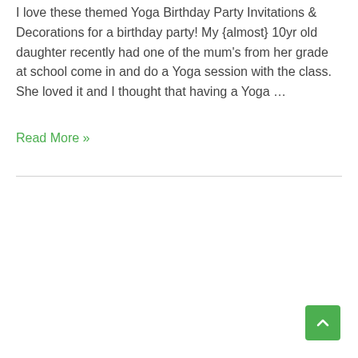I love these themed Yoga Birthday Party Invitations & Decorations for a birthday party! My {almost} 10yr old daughter recently had one of the mum's from her grade at school come in and do a Yoga session with the class. She loved it and I thought that having a Yoga …
Read More »